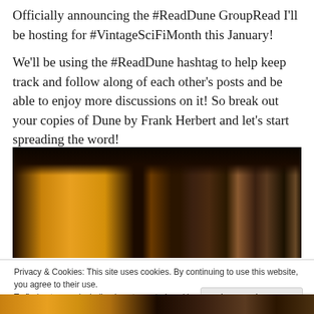Officially announcing the #ReadDune GroupRead I'll be hosting for #VintageSciFiMonth this January!
We'll be using the #ReadDune hashtag to help keep track and follow along of each other's posts and be able to enjoy more discussions on it! So break out your copies of Dune by Frank Herbert and let's start spreading the word!
[Figure (photo): Photo of book spines and covers, including Dune and related series, arranged on a dark surface with warm orange/amber lighting on book covers]
Privacy & Cookies: This site uses cookies. By continuing to use this website, you agree to their use.
To find out more, including how to control cookies, see here: Cookie Policy
Close and accept